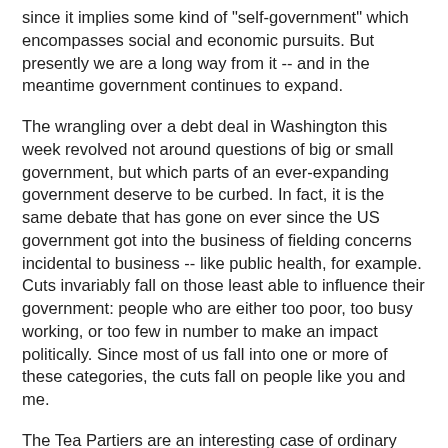since it implies some kind of "self-government" which encompasses social and economic pursuits. But presently we are a long way from it -- and in the meantime government continues to expand.
The wrangling over a debt deal in Washington this week revolved not around questions of big or small government, but which parts of an ever-expanding government deserve to be curbed. In fact, it is the same debate that has gone on ever since the US government got into the business of fielding concerns incidental to business -- like public health, for example. Cuts invariably fall on those least able to influence their government: people who are either too poor, too busy working, or too few in number to make an impact politically. Since most of us fall into one or more of these categories, the cuts fall on people like you and me.
The Tea Partiers are an interesting case of ordinary people organized by much wealthier people around this idea that government is too big; it is too “socialist.” Again, socialism as a tradition was never meant to describe “big government.” Socialists presumed modern governments were big; they